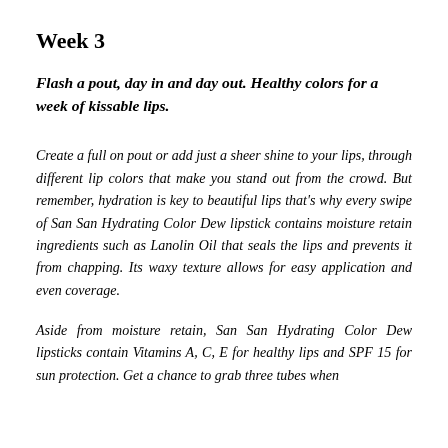Week 3
Flash a pout, day in and day out. Healthy colors for a week of kissable lips.
Create a full on pout or add just a sheer shine to your lips, through different lip colors that make you stand out from the crowd. But remember, hydration is key to beautiful lips that's why every swipe of San San Hydrating Color Dew lipstick contains moisture retain ingredients such as Lanolin Oil that seals the lips and prevents it from chapping. Its waxy texture allows for easy application and even coverage.
Aside from moisture retain, San San Hydrating Color Dew lipsticks contain Vitamins A, C, E for healthy lips and SPF 15 for sun protection. Get a chance to grab three tubes when